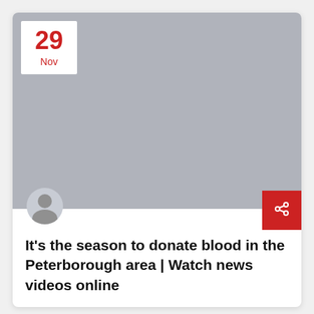[Figure (photo): Gray placeholder image area with a date badge showing '29 Nov' in red, an avatar/profile icon at the bottom left, and a red share button at the bottom right.]
It’s the season to donate blood in the Peterborough area | Watch news videos online